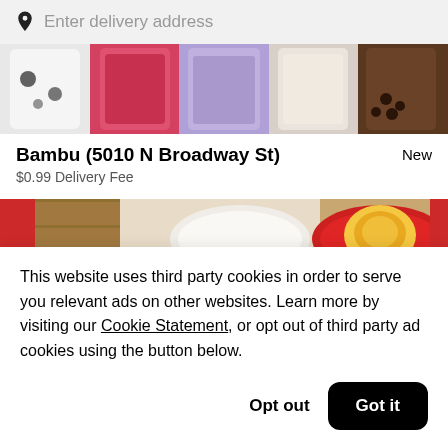Enter delivery address
[Figure (photo): Top strip of colorful drinks: white cup with dots, red/pink drink, purple/lavender drink, white cup, dark brown drink with boba]
Bambu (5010 N Broadway St)
New
$0.99 Delivery Fee
[Figure (photo): Restaurant food photo showing plates with food including an egg tart on a red plate, on a wooden table]
This website uses third party cookies in order to serve you relevant ads on other websites. Learn more by visiting our Cookie Statement, or opt out of third party ad cookies using the button below.
Opt out
Got it